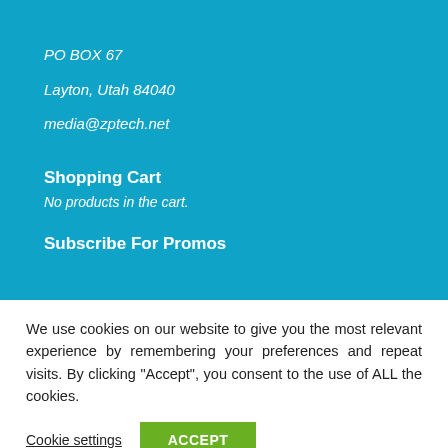PO BOX 67
Layton, Utah 84040
media@zptech.net
Shopping Cart
No products in the cart.
Subscribe For Promos
We use cookies on our website to give you the most relevant experience by remembering your preferences and repeat visits. By clicking “Accept”, you consent to the use of ALL the cookies.
Cookie settings
ACCEPT